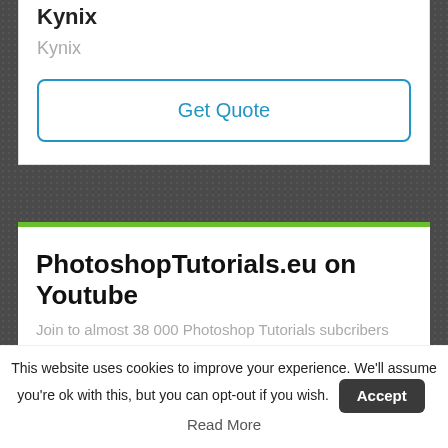Kynix
Kynix
Get Quote
PhotoshopTutorials.eu on Youtube
Join to almost 38 000 Photoshop Tutorials subcribers
This website uses cookies to improve your experience. We'll assume you're ok with this, but you can opt-out if you wish. Accept Read More